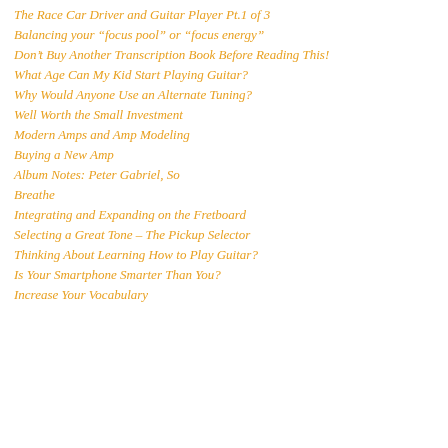The Race Car Driver and Guitar Player Pt.1 of 3
Balancing your “focus pool” or “focus energy”
Don’t Buy Another Transcription Book Before Reading This!
What Age Can My Kid Start Playing Guitar?
Why Would Anyone Use an Alternate Tuning?
Well Worth the Small Investment
Modern Amps and Amp Modeling
Buying a New Amp
Album Notes: Peter Gabriel, So
Breathe
Integrating and Expanding on the Fretboard
Selecting a Great Tone – The Pickup Selector
Thinking About Learning How to Play Guitar?
Is Your Smartphone Smarter Than You?
Increase Your Vocabulary